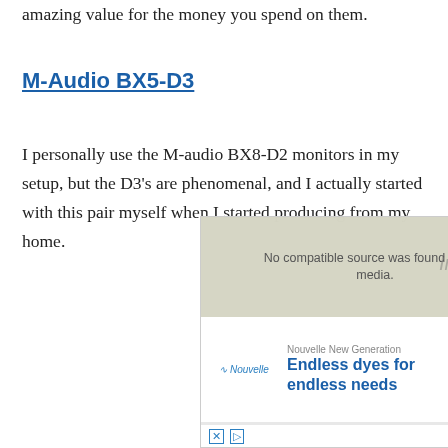amazing value for the money you spend on them.
M-Audio BX5-D3
I personally use the M-audio BX8-D2 monitors in my setup, but the D3’s are phenomenal, and I actually started with this pair myself when I started producing from my home.
[Figure (screenshot): Advertisement overlay with video player showing 'No compatible source was found for this media.' message, and a Nouvelle New Generation ad for 'Endless dyes for endless needs' with an Open button.]